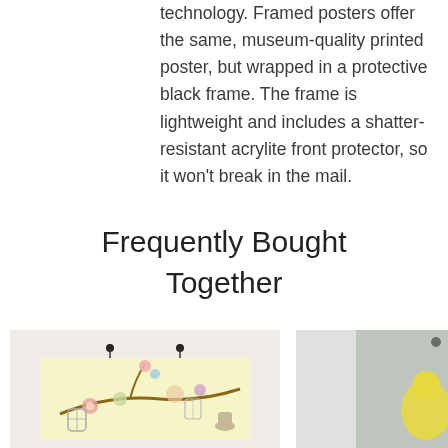technology. Framed posters offer the same, museum-quality printed poster, but wrapped in a protective black frame. The frame is lightweight and includes a shatter-resistant acrylite front protector, so it won't break in the mail.
Frequently Bought Together
[Figure (illustration): A decorative poster showing floral/botanical illustration with hanging birdcages and flowers on branches, shown hung on a wall with clips]
[Figure (illustration): Partial view of another poster/framed artwork, partially cropped at the right edge]